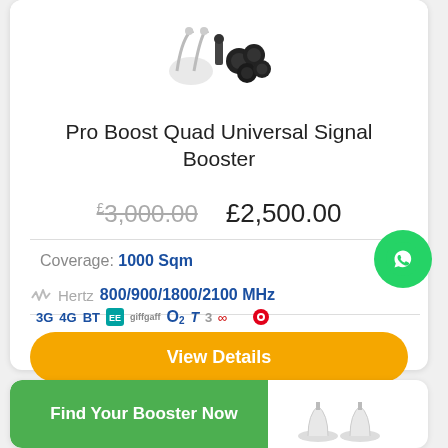[Figure (photo): Product photo of Pro Boost Quad Universal Signal Booster accessories including antennas and connectors on white background]
Pro Boost Quad Universal Signal Booster
£3,000.00   £2,500.00
Coverage: 1000 Sqm
Hertz 800/900/1800/2100 MHz
[Figure (logo): Carrier logos: 3G 4G BT EE giffgaff O2 Talk Talk Three Virgin Media Vodafone]
View Details
Find Your Booster Now
[Figure (photo): Product photo of another signal booster with dome antennas]